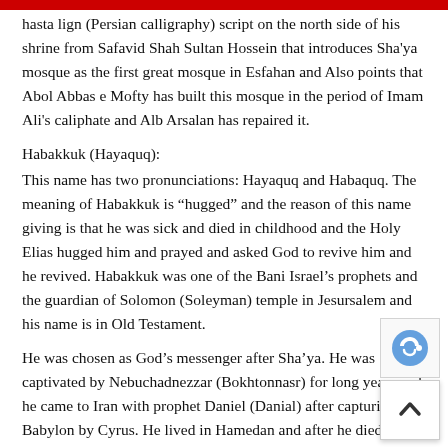hasta lign (Persian calligraphy) script on the north side of his shrine from Safavid Shah Sultan Hossein that introduces Sha'ya mosque as the first great mosque in Esfahan and Also points that Abol Abbas e Mofty has built this mosque in the period of Imam Ali's caliphate and Alb Arsalan has repaired it.
Habakkuk (Hayaquq):
This name has two pronunciations: Hayaquq and Habaquq. The meaning of Habakkuk is "hugged" and the reason of this name giving is that he was sick and died in childhood and the Holy Elias hugged him and prayed and asked God to revive him and he revived. Habakkuk was one of the Bani Israel's prophets and the guardian of Solomon (Soleyman) temple in Jesursalem and his name is in Old Testament.
He was chosen as God's messenger after Sha'ya. He was captivated by Nebuchadnezzar (Bokhtonnasr) for long years and he came to Iran with prophet Daniel (Danial) after capturing of Babylon by Cyrus. He lived in Hamedan and after he died, he was buried in Tuysarkan. The tomb of